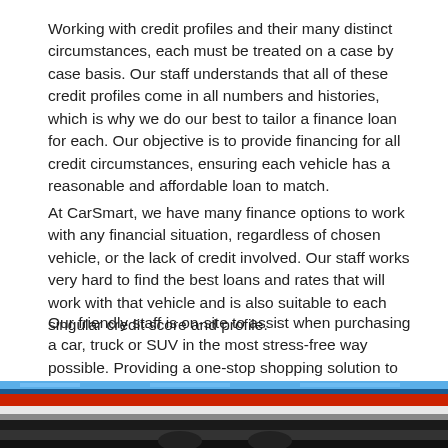Working with credit profiles and their many distinct circumstances, each must be treated on a case by case basis. Our staff understands that all of these credit profiles come in all numbers and histories, which is why we do our best to tailor a finance loan for each. Our objective is to provide financing for all credit circumstances, ensuring each vehicle has a reasonable and affordable loan to match.
At CarSmart, we have many finance options to work with any financial situation, regardless of chosen vehicle, or the lack of credit involved. Our staff works very hard to find the best loans and rates that will work with that vehicle and is also suitable to each singular credit score and profile.
Our friendly staff is on-site to assist when purchasing a car, truck or SUV in the most stress-free way possible. Providing a one-stop shopping solution to vehicle purchasing; from the credit application, test drives, right down to the signing of the paperwork, helps to make the car financing process as simple as possible.
Need a car loan to buy a new vehicle? Contact our friendly staff at (888)292-8115; for information on our Car Loans in Fort Washington at CarSmart today!
[Figure (photo): Bottom portion of a photo showing colorful cars (blue, red, white) lined up in a row, viewed from an angle showing the roofs and side mirrors.]